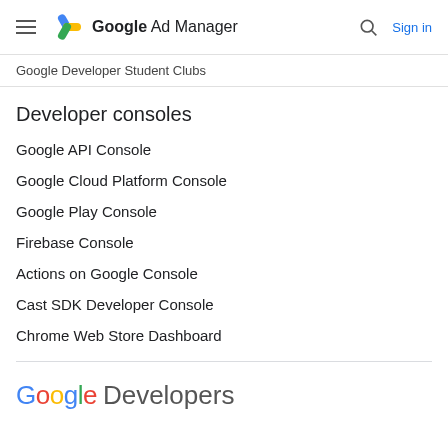Google Ad Manager — Sign in
Google Developer Student Clubs
Developer consoles
Google API Console
Google Cloud Platform Console
Google Play Console
Firebase Console
Actions on Google Console
Cast SDK Developer Console
Chrome Web Store Dashboard
Google Developers